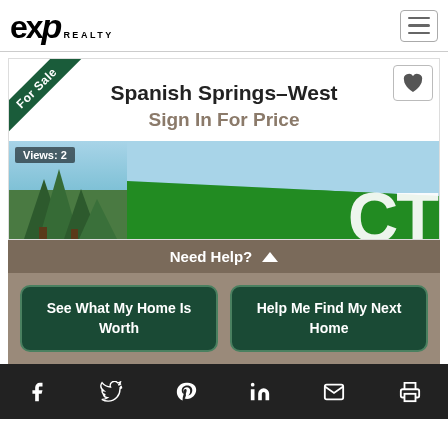[Figure (logo): eXp Realty logo in top left, hamburger menu icon top right]
[Figure (photo): Property listing card for Spanish Springs-West with For Sale ribbon, heart favorite button, Views: 2 badge, trees and sky photo, green banner with text CT]
Spanish Springs–West
Sign In For Price
Views: 2
Need Help?
See What My Home Is Worth
Help Me Find My Next Home
[Figure (infographic): Social media footer with Facebook, Twitter, Pinterest, LinkedIn, Email, and Print icons on dark background]